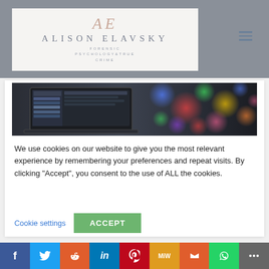[Figure (logo): Alison Elavsky Forensic Psychology & True Crime blog logo with stylized AE monogram]
[Figure (photo): Laptop computer with colorful bokeh lights in background]
We use cookies on our website to give you the most relevant experience by remembering your preferences and repeat visits. By clicking “Accept”, you consent to the use of ALL the cookies.
Cookie settings
ACCEPT
f  Twitter  Reddit  in  Pinterest  MiW  Mix  WhatsApp  More